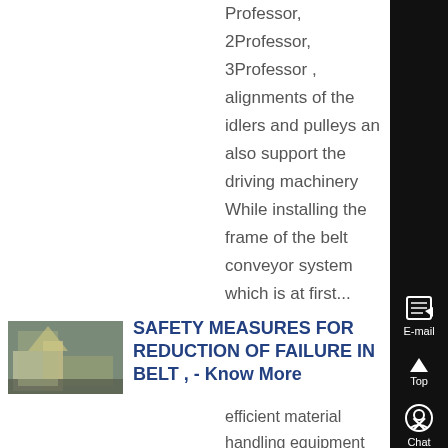Professor, 2Professor, 3Professor , alignments of the idlers and pulleys and also support the driving machinery While installing the frame of the belt conveyor system which is at first...
[Figure (photo): Thumbnail photo of a belt conveyor system in an industrial setting]
SAFETY MEASURES FOR REDUCTION OF FAILURE IN BELT , - Know More
efficient material handling equipment which can be implemented in the thermal power plant for coal handling, belt conveyor mainly consist of three parts, ie, belt, roller or idlers and the support frame The material is carried on the belt and the rate of failure of belt i